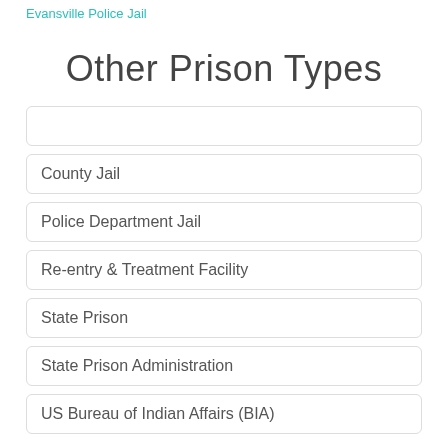Evansville Police Jail
Other Prison Types
County Jail
Police Department Jail
Re-entry & Treatment Facility
State Prison
State Prison Administration
US Bureau of Indian Affairs (BIA)